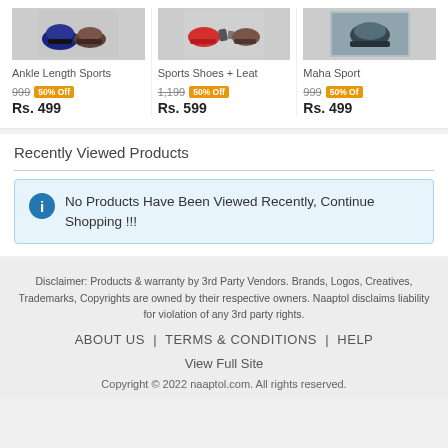[Figure (other): Three product cards showing sports shoes with images, names, original prices with 50% off badges, and final prices.]
Recently Viewed Products
No Products Have Been Viewed Recently, Continue Shopping !!!
Disclaimer: Products & warranty by 3rd Party Vendors. Brands, Logos, Creatives, Trademarks, Copyrights are owned by their respective owners. Naaptol disclaims liability for violation of any 3rd party rights.
ABOUT US  |  TERMS & CONDITIONS  |  HELP
View Full Site
Copyright © 2022 naaptol.com. All rights reserved.